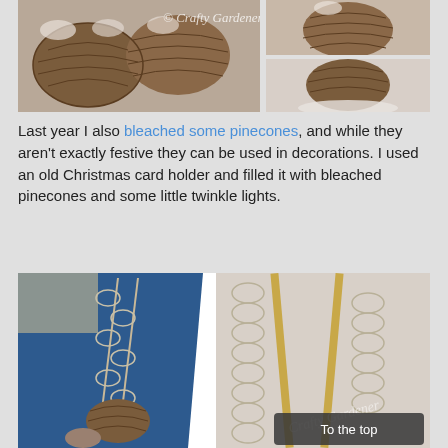[Figure (photo): Three photos of bleached pinecones with snow-like appearance, watermarked 'Crafty Gardener']
Last year I also bleached some pinecones, and while they aren't exactly festive they can be used in decorations.  I used an old Christmas card holder and filled it with bleached pinecones and some little twinkle lights.
[Figure (photo): Two photos of a wire Christmas card holder/stand with bleached pinecones and decorative elements, with a 'To the top' button overlay]